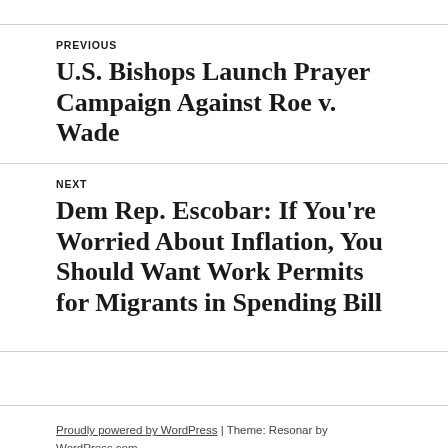PREVIOUS
U.S. Bishops Launch Prayer Campaign Against Roe v. Wade
NEXT
Dem Rep. Escobar: If You're Worried About Inflation, You Should Want Work Permits for Migrants in Spending Bill
Proudly powered by WordPress | Theme: Resonar by WordPress.com.